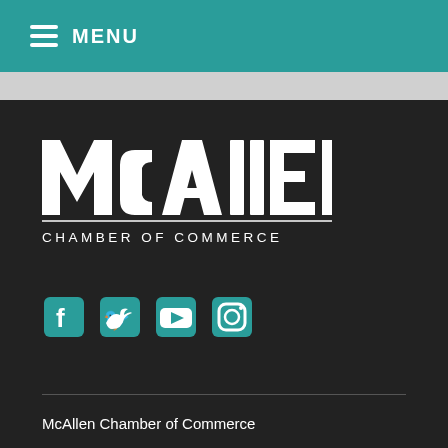MENU
[Figure (logo): McAllen Chamber of Commerce logo — stylized white text 'McAllen' above a horizontal rule and 'CHAMBER OF COMMERCE' in spaced white letters, on dark background]
[Figure (infographic): Social media icons: Facebook, Twitter, YouTube, Instagram — in teal color]
McAllen Chamber of Commerce